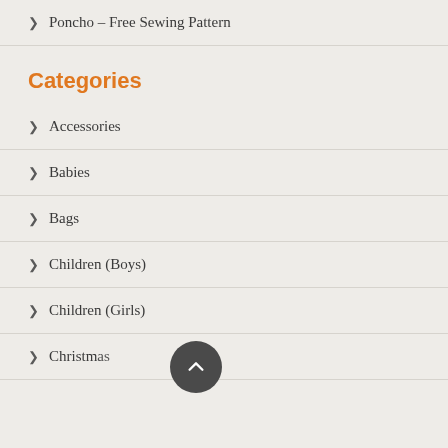> Poncho – Free Sewing Pattern
Categories
> Accessories
> Babies
> Bags
> Children (Boys)
> Children (Girls)
> Christmas